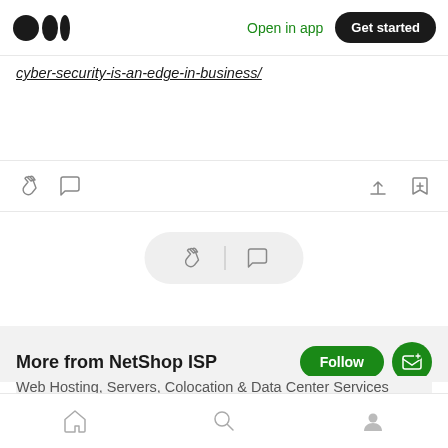Medium app header with logo, Open in app, Get started
cyber-security-is-an-edge-in-business/
[Figure (screenshot): Article action bar with clap, comment, share, and bookmark icons]
[Figure (screenshot): Floating pill with clap and comment icons]
More from NetShop ISP
Web Hosting, Servers, Colocation & Data Center Services (www.netshop-isp.com.cy)
Bottom navigation bar with home, search, and profile icons